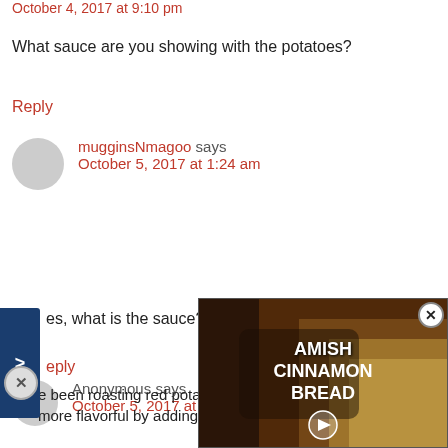October 4, 2017 at 9:10 pm
What sauce are you showing with the potatoes?
Reply
mugginsNmagoo says
October 5, 2017 at 1:24 am
es, what is the sauce?
eply
Anonymous says
October 5, 2017 at 4:53
[Figure (screenshot): Video overlay showing 'AMISH CINNAMON BREAD' with a play button and close button]
e been roasting red potatoes like this for years, but I add more flavorful by adding a bit of garlic powder (1/4 tsp or
AnD...d Read...